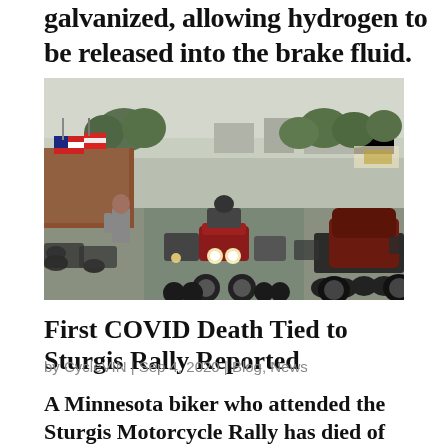galvanized, allowing hydrogen to be released into the brake fluid. Remedy…
[Figure (photo): Street scene at the Sturgis Motorcycle Rally showing motorcycles riding down a crowded main street with American flags and shops visible on the left, and rows of parked motorcycles on the right. Trees and buildings visible in the background under a hazy sky.]
First COVID Death Tied to Sturgis Rally Reported
by CycleVIN | Sep 4, 2020 | Blog, News
A Minnesota biker who attended the Sturgis Motorcycle Rally has died of